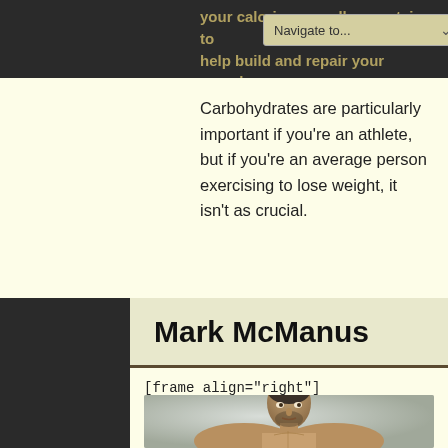your calories as well as protein to help build and repair your muscles.
Carbohydrates are particularly important if you're an athlete, but if you're an average person exercising to lose weight, it isn't as crucial.
Mark McManus
[frame align="right"]
[Figure (photo): Muscular man with short hair, shirtless, photographed against a neutral background, upper body visible]